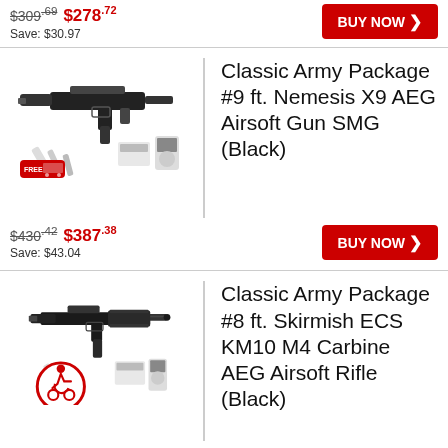$309.69 $278.72 Save: $30.97
BUY NOW
[Figure (photo): Classic Army Package #9 ft. Nemesis X9 AEG Airsoft Gun SMG (Black) product image with accessories]
Classic Army Package #9 ft. Nemesis X9 AEG Airsoft Gun SMG (Black)
$430.42 $387.38 Save: $43.04
BUY NOW
[Figure (photo): Classic Army Package #8 ft. Skirmish ECS KM10 M4 Carbine AEG Airsoft Rifle (Black) product image with accessories]
Classic Army Package #8 ft. Skirmish ECS KM10 M4 Carbine AEG Airsoft Rifle (Black)